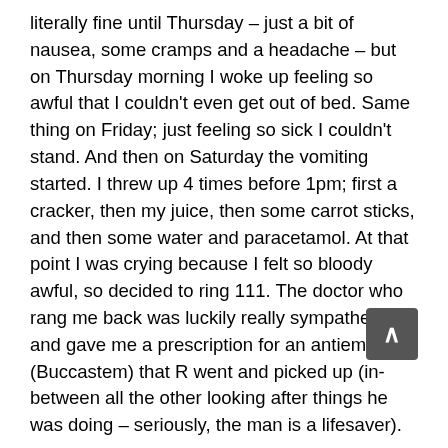literally fine until Thursday – just a bit of nausea, some cramps and a headache – but on Thursday morning I woke up feeling so awful that I couldn't even get out of bed. Same thing on Friday; just feeling so sick I couldn't stand. And then on Saturday the vomiting started. I threw up 4 times before 1pm; first a cracker, then my juice, then some carrot sticks, and then some water and paracetamol. At that point I was crying because I felt so bloody awful, so decided to ring 111. The doctor who rang me back was luckily really sympathetic, and gave me a prescription for an antiemitic (Buccastem) that R went and picked up (in-between all the other looking after things he was doing – seriously, the man is a lifesaver).
About 45 minutes after taking the pill my stomach started to calm down and I could have some water without feeling like it was going to come straight back up again. And 2 hours later I was able to have some more carrot sticks and started to feel a bit like myself again. But by Sunday I was feeling